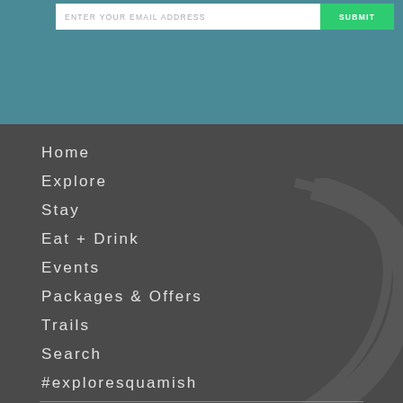[Figure (screenshot): Email input field with placeholder text 'ENTER YOUR EMAIL ADDRESS' and a green SUBMIT button on a teal background]
Home
Explore
Stay
Eat + Drink
Events
Packages & Offers
Trails
Search
#exploresquamish
News & Blogs
Trip Planning
[Figure (screenshot): Social media icons bar with Facebook, Twitter, and Pinterest icons on dark background at bottom left]